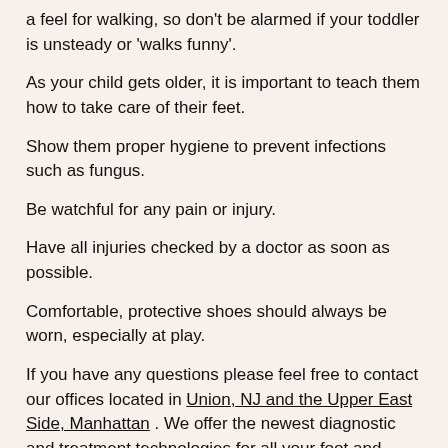a feel for walking, so don't be alarmed if your toddler is unsteady or 'walks funny'.
As your child gets older, it is important to teach them how to take care of their feet.
Show them proper hygiene to prevent infections such as fungus.
Be watchful for any pain or injury.
Have all injuries checked by a doctor as soon as possible.
Comfortable, protective shoes should always be worn, especially at play.
If you have any questions please feel free to contact our offices located in Union, NJ and the Upper East Side, Manhattan . We offer the newest diagnostic and treatment technologies for all your foot and ankle needs.